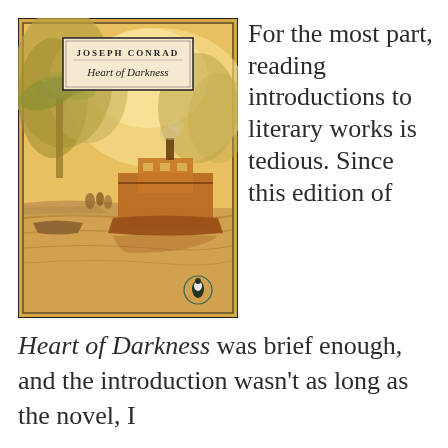[Figure (illustration): Book cover of 'Heart of Darkness' by Joseph Conrad (Penguin edition). The cover features a warm yellow-orange watercolor illustration of a river scene with a steamboat, tropical trees, and figures. A black-bordered label at the top reads 'JOSEPH CONRAD' and 'Heart of Darkness' in italic. A Penguin Books logo appears at the bottom right.]
For the most part, reading introductions to literary works is tedious. Since this edition of Heart of Darkness was brief enough, and the introduction wasn't as long as the novel, I